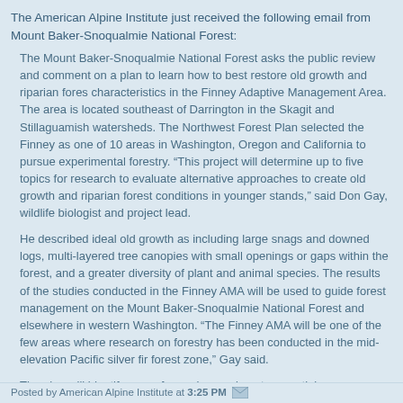The American Alpine Institute just received the following email from Mount Baker-Snoqualmie National Forest:
The Mount Baker-Snoqualmie National Forest asks the public review and comment on a plan to learn how to best restore old growth and riparian forest characteristics in the Finney Adaptive Management Area. The area is located southeast of Darrington in the Skagit and Stillaguamish watersheds. The Northwest Forest Plan selected the Finney as one of 10 areas in Washington, Oregon and California to pursue experimental forestry. “This project will determine up to five topics for research to evaluate alternative approaches to create old growth and riparian forest conditions in younger stands,” said Don Gay, wildlife biologist and project lead.
He described ideal old growth as including large snags and downed logs, multi-layered tree canopies with small openings or gaps within the forest, and a greater diversity of plant and animal species. The results of the studies conducted in the Finney AMA will be used to guide forest management on the Mount Baker-Snoqualmie National Forest and elsewhere in western Washington. “The Finney AMA will be one of the few areas where research on forestry has been conducted in the mid-elevation Pacific silver fir forest zone,” Gay said.
The plan will identify areas for each experiment, essential response variables to be measured, and measurement intervals according to Gay. Public 2008 meetings sought public comment to develop the plan, and the forest is seeking public review and comments to finalize it in October. Address comments to Don Gay at dgay@fs.fed.us. The proposal can be viewed at: http://www.fs.fed.us/r6/mbs/projects/finney-ama/
Posted by American Alpine Institute at 3:25 PM